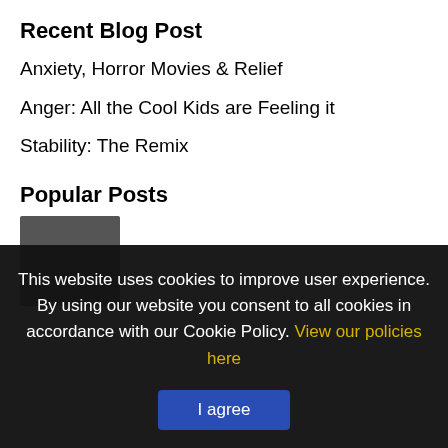Recent Blog Post
Anxiety, Horror Movies & Relief
Anger: All the Cool Kids are Feeling it
Stability: The Remix
Popular Posts
This website uses cookies to improve user experience. By using our website you consent to all cookies in accordance with our Cookie Policy. View our policies here
I agree